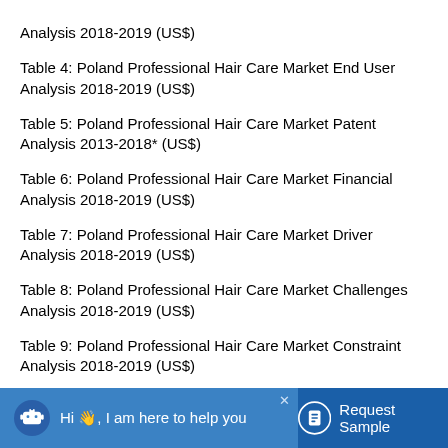Analysis 2018-2019 (US$)
Table 4: Poland Professional Hair Care Market End User Analysis 2018-2019 (US$)
Table 5: Poland Professional Hair Care Market Patent Analysis 2013-2018* (US$)
Table 6: Poland Professional Hair Care Market Financial Analysis 2018-2019 (US$)
Table 7: Poland Professional Hair Care Market Driver Analysis 2018-2019 (US$)
Table 8: Poland Professional Hair Care Market Challenges Analysis 2018-2019 (US$)
Table 9: Poland Professional Hair Care Market Constraint Analysis 2018-2019 (US$)
Table 10: Poland Professional Hair Care Market Supplier Bargaining Power Analysis 2018-2019 (US$)